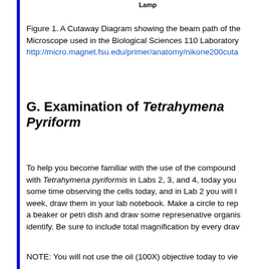Lamp
Figure 1. A Cutaway Diagram showing the beam path of the Microscope used in the Biological Sciences 110 Laboratory http://micro.magnet.fsu.edu/primer/anatomy/nikone200cuta
G. Examination of Tetrahymena Pyriform
To help you become familiar with the use of the compound with Tetrahymena pyriformis in Labs 2, 3, and 4, today you some time observing the cells today, and in Lab 2 you will l week, draw them in your lab notebook. Make a circle to rep a beaker or petri dish and draw some represenative organis identify. Be sure to include total magnification by every drav
NOTE: You will not use the oil (100X) objective today to vie